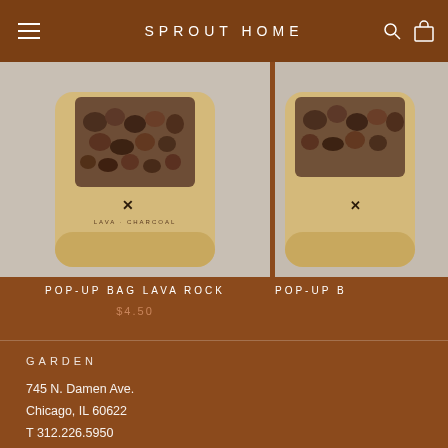SPROUT HOME
[Figure (photo): Product photo of Pop-Up Bag Lava Rock - a beige/tan kraft paper bag with a clear window showing dark lava rocks inside]
POP-UP BAG LAVA ROCK
$4.50
[Figure (photo): Partial product photo of another Pop-Up Bag (cropped at right edge of page)]
POP-UP B
GARDEN
745 N. Damen Ave.
Chicago, IL 60622
T 312.226.5950